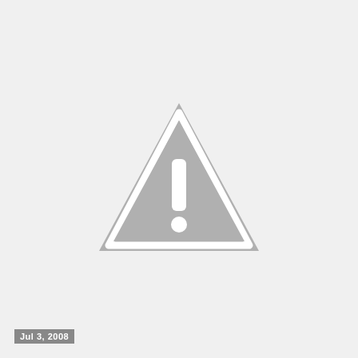[Figure (illustration): A gray warning/caution triangle icon with an exclamation mark, centered on a light gray background. The triangle has a white border and contains a white exclamation mark (vertical bar and dot).]
Jul 3, 2008